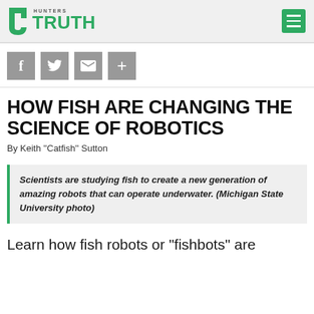HUNTERS TRUTH
[Figure (logo): Hunters Truth logo with green icon and text, plus hamburger menu icon on the right]
[Figure (other): Social sharing icons: Facebook, Twitter, Email, Plus]
HOW FISH ARE CHANGING THE SCIENCE OF ROBOTICS
By Keith ''Catfish'' Sutton
Scientists are studying fish to create a new generation of amazing robots that can operate underwater. (Michigan State University photo)
Learn how fish robots or "fishbots" are